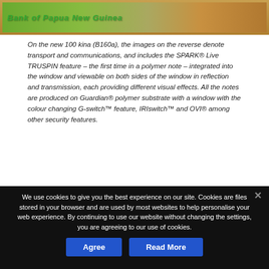[Figure (photo): Partial image of a Bank of Papua New Guinea banknote showing green and brown tones with text overlay]
On the new 100 kina (B160a), the images on the reverse denote transport and communications, and includes the SPARK® Live TRUSPIN feature – the first time in a polymer note – integrated into the window and viewable on both sides of the window in reflection and transmission, each providing different visual effects. All the notes are produced on Guardian® polymer substrate with a window with the colour changing G-switch™ feature, IRIswitch™ and OVI® among other security features.
The newly updated polymer based is in denominations of 2, 5, 10, 20, 50 and 100 kina and all feature the National Parliament building in Port Moresby on the front, with
We use cookies to give you the best experience on our site. Cookies are files stored in your browser and are used by most websites to help personalise your web experience. By continuing to use our website without changing the settings, you are agreeing to our use of cookies.